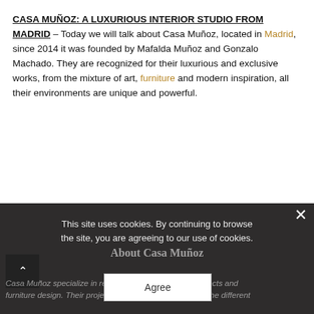CASA MUÑOZ: A LUXURIOUS INTERIOR STUDIO FROM MADRID – Today we will talk about Casa Muñoz, located in Madrid, since 2014 it was founded by Mafalda Muñoz and Gonzalo Machado. They are recognized for their luxurious and exclusive works, from the mixture of art, furniture and modern inspiration, all their environments are unique and powerful.
This site uses cookies. By continuing to browse the site, you are agreeing to our use of cookies.
About Casa Muñoz
Casa Muñoz specialize in residential and restoration projects and furniture design. Their projects gives a complete vision of the different